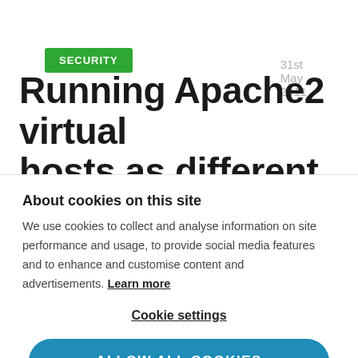SECURITY
31st May 2011
Running Apache2 virtual hosts as different users with
About cookies on this site
We use cookies to collect and analyse information on site performance and usage, to provide social media features and to enhance and customise content and advertisements. Learn more
Cookie settings
ALLOW ALL COOKIES